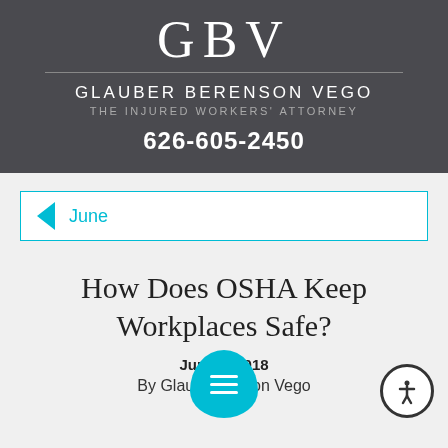[Figure (logo): GBV - Glauber Berenson Vego law firm logo with firm name and phone number on dark grey background]
June
How Does OSHA Keep Workplaces Safe?
June 2018
By Glauber Berenson Vego